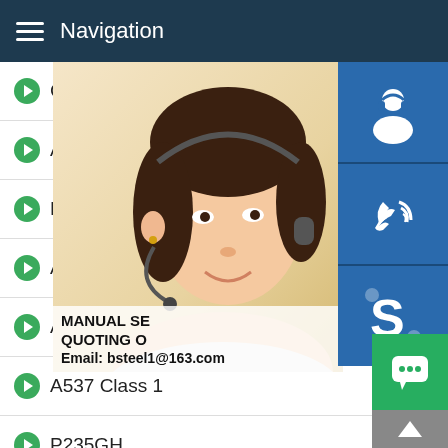Navigation
CA387 Grade 11 Class2
A387 Grade 12 Class1
BUILDING-LIKE SAND-MAKER
A387 Grade 12 Class2
A516 Grade 70
A537 Class 1
P235GH
50CrMo4
51CrV4
42CrMo4
12Cr1MoV
[Figure (photo): Customer service representative wearing a headset, with contact icons (headset, phone, Skype) on the right side, and contact info overlay showing MANUAL SE, QUOTING O, Email: bsteel1@163.com]